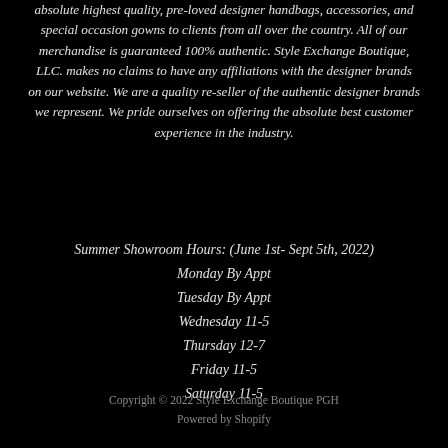absolute highest quality, pre-loved designer handbags, accessories, and special occasion gowns to clients from all over the country. All of our merchandise is guaranteed 100% authentic. Style Exchange Boutique, LLC. makes no claims to have any affiliations with the designer brands on our website. We are a quality re-seller of the authentic designer brands we represent. We pride ourselves on offering the absolute best customer experience in the industry.
Summer Showroom Hours: (June 1st- Sept 5th, 2022)
Monday By Appt
Tuesday By Appt
Wednesday 11-5
Thursday 12-7
Friday 11-5
Saturday 11-5
Copyright © 2022 Style Exchange Boutique PGH
Powered by Shopify